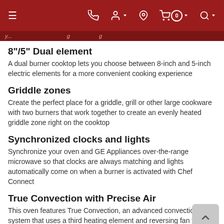Navigation bar with menu, phone, account, location, cart (0), and search icons
breadcrumb navigation text (partially visible)
8"/5" Dual element
A dual burner cooktop lets you choose between 8-inch and 5-inch electric elements for a more convenient cooking experience
Griddle zones
Create the perfect place for a griddle, grill or other large cookware with two burners that work together to create an evenly heated griddle zone right on the cooktop
Synchronized clocks and lights
Synchronize your oven and GE Appliances over-the-range microwave so that clocks are always matching and lights automatically come on when a burner is activated with Chef Connect
True Convection with Precise Air
This oven features True Convection, an advanced convection system that uses a third heating element and reversing fan for the highest level of heat and air circulation